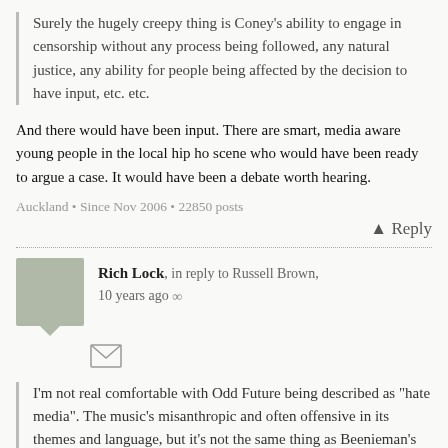Surely the hugely creepy thing is Coney’s ability to engage in censorship without any process being followed, any natural justice, any ability for people being affected by the decision to have input, etc. etc.
And there would have been input. There are smart, media aware young people in the local hip ho scene who would have been ready to argue a case. It would have been a debate worth hearing.
Auckland • Since Nov 2006 • 22850 posts
Reply
Rich Lock, in reply to Russell Brown, 10 years ago ∞
[Figure (illustration): Avatar placeholder icon for commenter Rich Lock, grey square with a speech bubble tail. Below it is an envelope/mail icon.]
I’m not real comfortable with Odd Future being described as “hate media”. The music’s misanthropic and often offensive in its themes and language, but it’s not the same thing as Beenieman’s “coming to Jamaica to execute all the gays”.